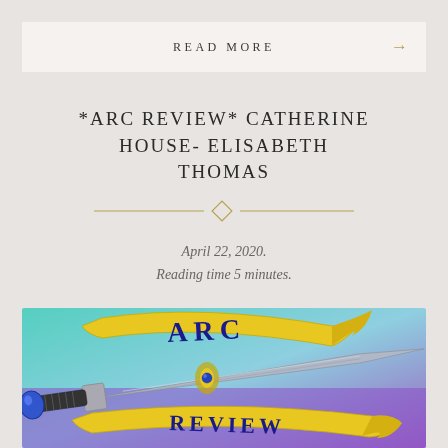READ MORE →
*ARC REVIEW* CATHERINE HOUSE- ELISABETH THOMAS
April 22, 2020.
Reading time 5 minutes.
[Figure (illustration): ARC Review banner illustration with a yellow ribbon scroll reading 'ARC' and 'REVIEW' wrapped around a fantasy sword with blue gem hilt, on a teal-to-purple gradient background]